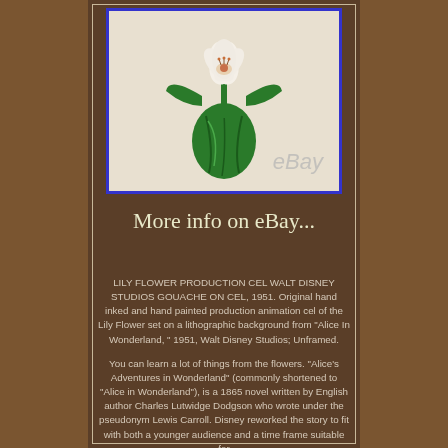[Figure (illustration): Lily flower character animation cel illustration — a white lily bloom with pink center sitting on top of a green anthropomorphic body/dress shape, on a beige background with blue border. 'eBay' watermark in bottom right.]
More info on eBay...
LILY FLOWER PRODUCTION CEL WALT DISNEY STUDIOS GOUACHE ON CEL, 1951. Original hand inked and hand painted production animation cel of the Lily Flower set on a lithographic background from "Alice In Wonderland, " 1951, Walt Disney Studios; Unframed.
You can learn a lot of things from the flowers. "Alice's Adventures in Wonderland" (commonly shortened to "Alice in Wonderland"), is a 1865 novel written by English author Charles Lutwidge Dodgson who wrote under the pseudonym Lewis Carroll. Disney reworked the story to fit with both a younger audience and a time frame suitable for